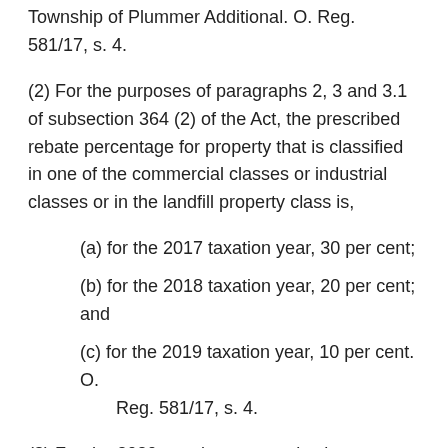Township of Plummer Additional. O. Reg. 581/17, s. 4.
(2) For the purposes of paragraphs 2, 3 and 3.1 of subsection 364 (2) of the Act, the prescribed rebate percentage for property that is classified in one of the commercial classes or industrial classes or in the landfill property class is,
(a) for the 2017 taxation year, 30 per cent;
(b) for the 2018 taxation year, 20 per cent; and
(c) for the 2019 taxation year, 10 per cent. O. Reg. 581/17, s. 4.
(3) For the 2020 taxation year and subsequent taxation years, the Township of Plummer Additional is not required to have a program to